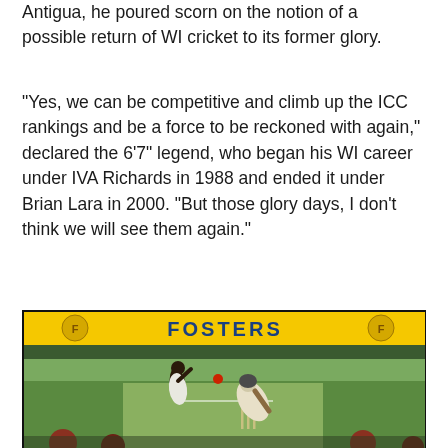Antigua, he poured scorn on the notion of a possible return of WI cricket to its former glory.
“Yes, we can be competitive and climb up the ICC rankings and be a force to be reckoned with again,” declared the 6’7” legend, who began his WI career under IVA Richards in 1988 and ended it under Brian Lara in 2000. “But those glory days, I don’t think we will see them again.”
[Figure (photo): A cricket match photograph showing a West Indies fast bowler in delivery stride wearing white kit, with a batsman ducking or fending off the ball. A Fosters advertising hoarding is visible in the background. Stumps and bails are visible, with spectators in the foreground.]